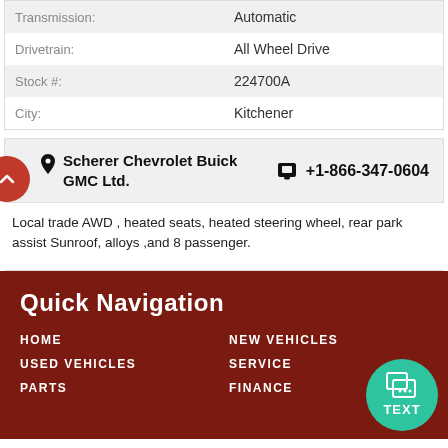| Label | Value |
| --- | --- |
| Transmission: | Automatic |
| Drivetrain: | All Wheel Drive |
| Stock #: | 224700A |
| City: | Kitchener |
Scherer Chevrolet Buick GMC Ltd.  +1-866-347-0604
Local trade AWD , heated seats, heated steering wheel, rear park assist Sunroof, alloys ,and 8 passenger.
Quick Navigation
HOME
NEW VEHICLES
USED VEHICLES
SERVICE
PARTS
FINANCE